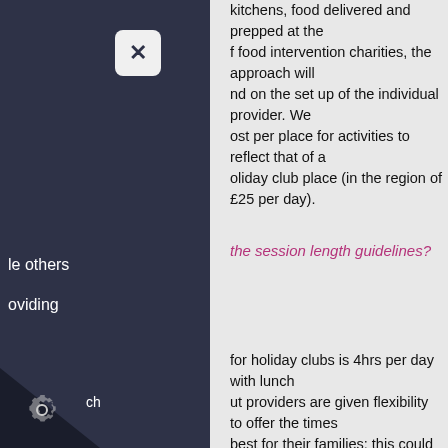kitchens, food delivered and prepped at the f food intervention charities, the approach will nd on the set up of the individual provider. We ost per place for activities to reflect that of a oliday club place (in the region of £25 per day).
the session length guidelines?
for holiday clubs is 4hrs per day with lunch ut providers are given flexibility to offer the times best for their families: this could be 8am-12pm akfast club, or later in the evening for older young
ns over 4hrs please check Ofsted requirements.
the expectations around the provision of
that the food will meet the school food ensuring all children receive  a healthy, neal. There is no requirement for the meals to all wever it  may be tricky to provide a good variety ticking only to cold meals, and we  would hot meals where possible.